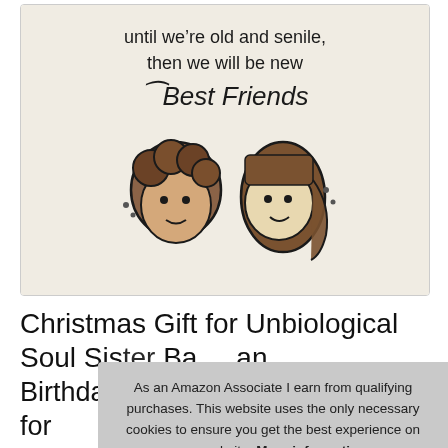[Figure (photo): A linen/canvas pouch bag with illustrated text reading 'until we're old and senile, then we will be new Best Friends' with two cartoon girl faces drawn on it.]
Christmas Gift for Unbiological Soul Sis... Ba... an... Birthday, Best Friend BFF Gifts for
As an Amazon Associate I earn from qualifying purchases. This website uses the only necessary cookies to ensure you get the best experience on our website. More information